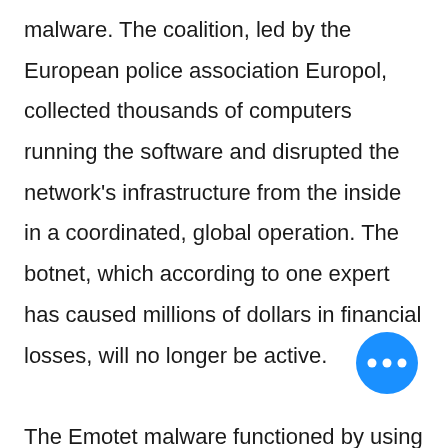malware. The coalition, led by the European police association Europol, collected thousands of computers running the software and disrupted the network's infrastructure from the inside in a coordinated, global operation. The botnet, which according to one expert has caused millions of dollars in financial losses, will no longer be active.

The Emotet malware functioned by using a very common piece of software: Microsoft Word. Victims would receive a seemingly
[Figure (other): A circular blue floating action button with three white dots (ellipsis/more options icon)]